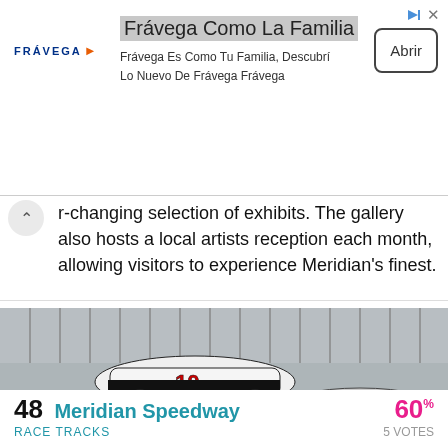[Figure (screenshot): Frávega advertisement banner with logo, tagline 'Frávega Como La Familia', subtitle 'Frávega Es Como Tu Familia, Descubrí Lo Nuevo De Frávega Frávega', and an 'Abrir' button]
r-changing selection of exhibits. The gallery also hosts a local artists reception each month, allowing visitors to experience Meridian's finest.
[Figure (photo): NASCAR-style stock car race photo showing white car #10 and car #2 with sponsors on a race track, with grandstands in background. Distance label: 8.9 MILES]
48 Meridian Speedway    60% 5 VOTES
RACE TRACKS